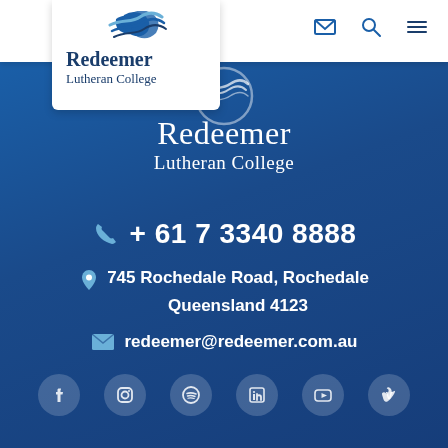[Figure (logo): Redeemer Lutheran College logo with blue dove/waves graphic and text]
+ 61 7 3340 8888
745 Rochedale Road, Rochedale
Queensland 4123
redeemer@redeemer.com.au
[Figure (infographic): Social media icons row: Facebook, Instagram, Spotify, LinkedIn, YouTube, Vimeo]